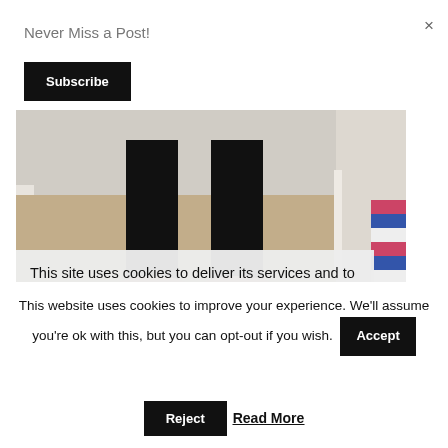Never Miss a Post!
Subscribe
×
[Figure (photo): Photo of a person's legs and feet standing on carpet, wearing black pants, with a striped item visible on the right side]
This site uses cookies to deliver its services and to analyse traffic. By using this site, you agree to its use of cookies. Learn more
lling
This website uses cookies to improve your experience. We'll assume you're ok with this, but you can opt-out if you wish.
Accept
Reject
Read More